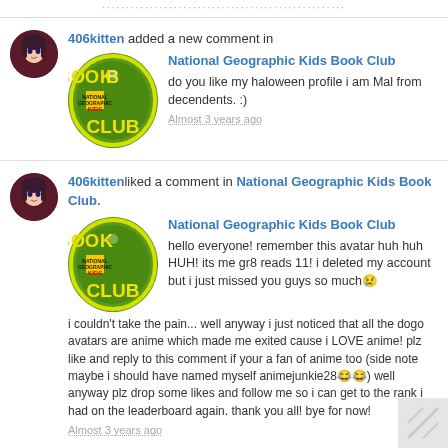406kitten added a new comment in National Geographic Kids Book Club
do you like my haloween profile i am Mal from decendents. :)
Almost 3 years ago
406kitten liked a comment in National Geographic Kids Book Club.
National Geographic Kids Book Club
hello everyone! remember this avatar huh huh HUH! its me gr8 reads 11! i deleted my account but i just missed you guys so much i couldn't take the pain... well anyway i just noticed that all the dogo avatars are anime which made me exited cause i LOVE anime! plz like and reply to this comment if your a fan of anime too (side note maybe i should have named myself animejunkie28) well anyway plz drop some likes and follow me so i can get to the rank i had on the leaderboard again. thank you all! bye for now!
Almost 3 years ago